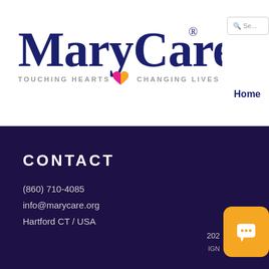[Figure (logo): MaryCare logo with registered trademark symbol and tagline TOUCHING HEARTS CHANGING LIVES with a colorful heart icon]
Home
CONTACT
(860) 710-4085
info@marycare.org
Hartford CT / USA
[Figure (other): Orange chat button with speech bubble icon, and partial copyright and design text]
202... IGN...